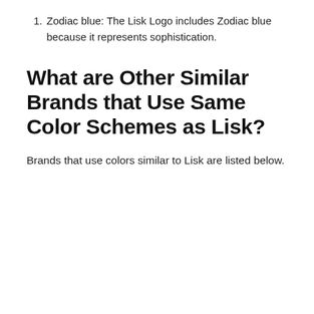1. Zodiac blue: The Lisk Logo includes Zodiac blue because it represents sophistication.
What are Other Similar Brands that Use Same Color Schemes as Lisk?
Brands that use colors similar to Lisk are listed below.